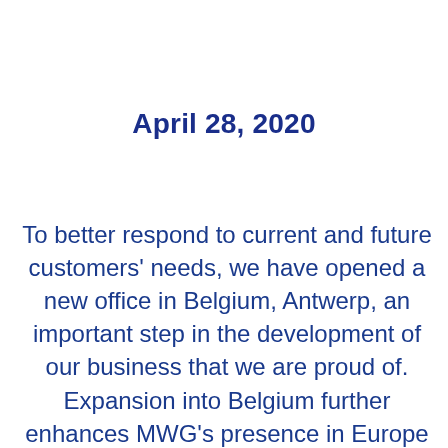April 28, 2020
To better respond to current and future customers' needs, we have opened a new office in Belgium, Antwerp, an important step in the development of our business that we are proud of. Expansion into Belgium further enhances MWG's presence in Europe with currently